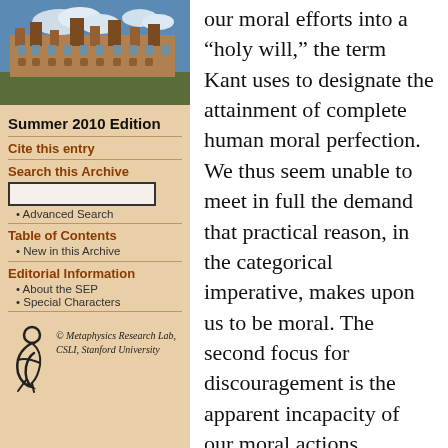[Figure (photo): Photo of a historic university building with gothic architecture and blue sky with clouds]
Summer 2010 Edition
Cite this entry
Search this Archive
Advanced Search
Table of Contents
New in this Archive
Editorial Information
About the SEP
Special Characters
© Metaphysics Research Lab, CSLI, Stanford University
our moral efforts into a “holy will,” the term Kant uses to designate the attainment of complete human moral perfection. We thus seem unable to meet in full the demand that practical reason, in the categorical imperative, makes upon us to be moral. The second focus for discouragement is the apparent incapacity of our moral actions, precisely in their capacity as moral, to effect happiness. We thus seem unable to meet the demand of practical reason that we make the highest good — which necessarily includes happiness — the object of our willing. In each case, the use of